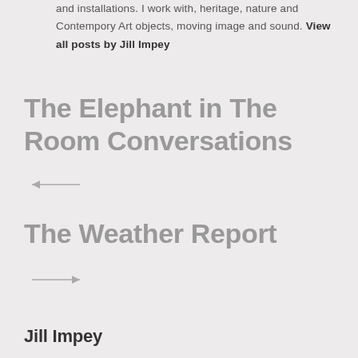and installations. I work with, heritage, nature and Contempory Art objects, moving image and sound. View all posts by Jill Impey
The Elephant in The Room Conversations
The Weather Report
Jill Impey